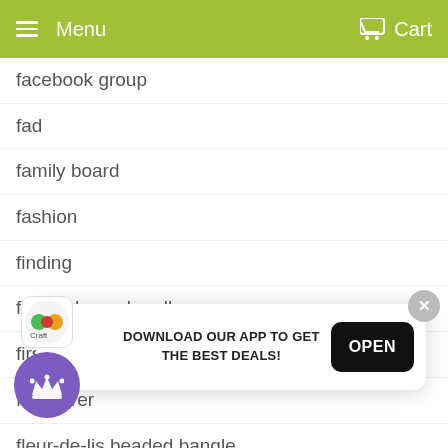Menu   Cart
facebook group
fad
family board
fashion
finding
fire and marshmallow
first ornament
flea fever
fleur-de-lis beaded bangle
fo... (partially obscured)
f... (partially obscured)
f... (partially obscured)
foo... (partially obscured)
football acrylic
[Figure (screenshot): App download popup banner with close button (X), app icon, crown button, text 'DOWNLOAD OUR APP TO GET THE BEST DEALS!', and OPEN button]